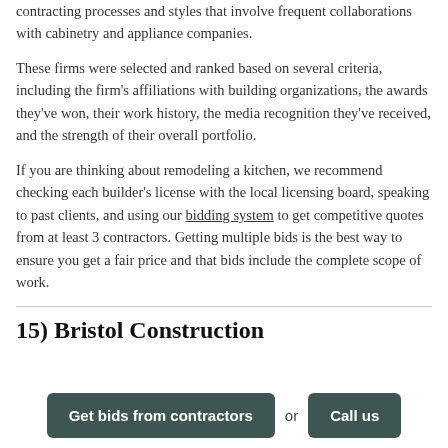contracting processes and styles that involve frequent collaborations with cabinetry and appliance companies.
These firms were selected and ranked based on several criteria, including the firm’s affiliations with building organizations, the awards they’ve won, their work history, the media recognition they’ve received, and the strength of their overall portfolio.
If you are thinking about remodeling a kitchen, we recommend checking each builder’s license with the local licensing board, speaking to past clients, and using our bidding system to get competitive quotes from at least 3 contractors. Getting multiple bids is the best way to ensure you get a fair price and that bids include the complete scope of work.
15) Bristol Construction